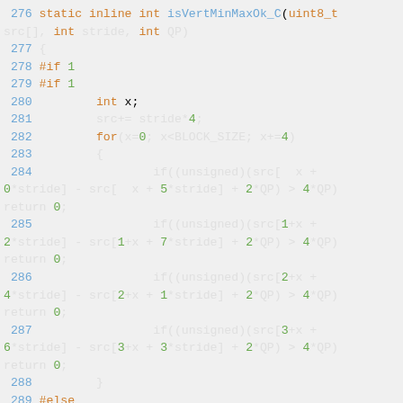[Figure (screenshot): Source code listing in a monospace font on a light gray background, showing C code for the function isVertMinMaxOk_C with line numbers 276-291, featuring syntax highlighting in blue, orange, and green colors.]